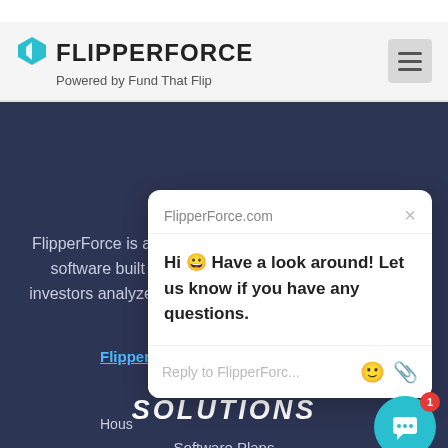FLIPPERFORCE — Powered by Fund That Flip
COMPANY
FlipperForce is an all-in-one web-based house flipping software built to help house flippers, rehabbers & investors analyze deals & manage their rehab projects.
[Figure (screenshot): Chat popup overlay from FlipperForce.com with message: Hi 😀 Have a look around! Let us know if you have any questions. Below is a reply input field reading 'Reply to FlipperForc...' with emoji and attachment icons.]
SOLUTIONS
Software Plans